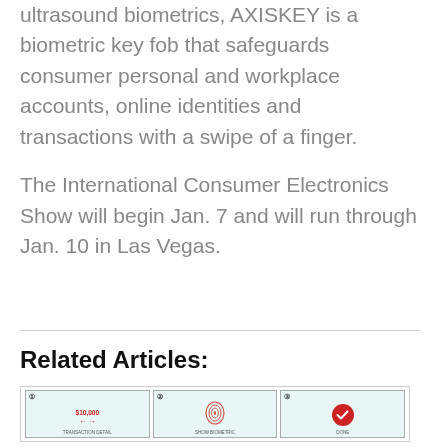ultrasound biometrics, AXISKEY is a biometric key fob that safeguards consumer personal and workplace accounts, online identities and transactions with a swipe of a finger.
The International Consumer Electronics Show will begin Jan. 7 and will run through Jan. 10 in Las Vegas.
Related Articles:
[Figure (infographic): Three-step infographic showing a biometric transaction process: Step 1 shows a transaction amount of $10,000 with arrows, Step 2 shows a fingerprint biometric scan, Step 3 shows a red checkmark indicating done.]